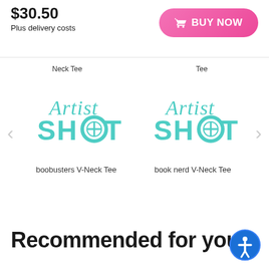$30.50
Plus delivery costs
BUY NOW
Neck Tee
Tee
[Figure (logo): Artist Shot logo in teal/cyan color, stylized cursive 'Artist' above bold 'SHOT' text with circle-arrow icon in the O]
boobusters V-Neck Tee
[Figure (logo): Artist Shot logo in teal/cyan color, stylized cursive 'Artist' above bold 'SHOT' text with circle-arrow icon in the O]
book nerd V-Neck Tee
Recommended for you